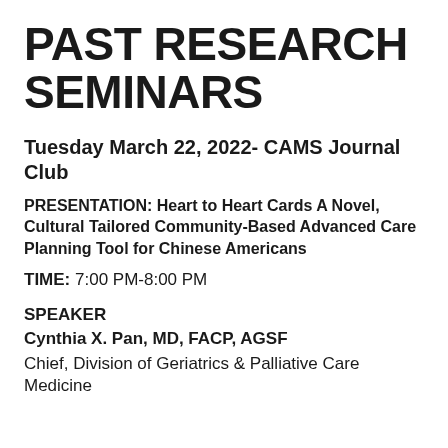PAST RESEARCH SEMINARS
Tuesday March 22, 2022- CAMS Journal Club
PRESENTATION: Heart to Heart Cards A Novel, Cultural Tailored Community-Based Advanced Care Planning Tool for Chinese Americans
TIME: 7:00 PM-8:00 PM
SPEAKER
Cynthia X. Pan, MD, FACP, AGSF
Chief, Division of Geriatrics & Palliative Care Medicine